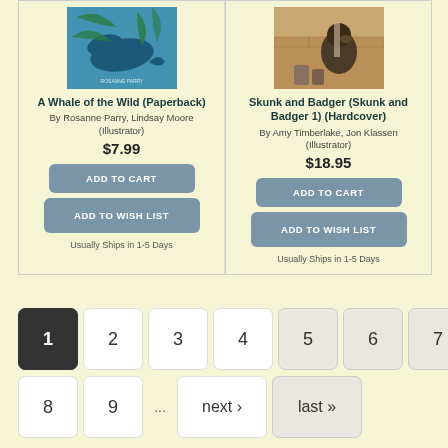[Figure (illustration): Book cover for A Whale of the Wild - teal/blue illustration with whale and leaves]
A Whale of the Wild (Paperback)
By Rosanne Parry, Lindsay Moore (Illustrator)
$7.99
ADD TO CART
ADD TO WISH LIST
Usually Ships in 1-5 Days
[Figure (illustration): Book cover for Skunk and Badger - brown/tan illustration with animal character]
Skunk and Badger (Skunk and Badger 1) (Hardcover)
By Amy Timberlake, Jon Klassen (Illustrator)
$18.95
ADD TO CART
ADD TO WISH LIST
Usually Ships in 1-5 Days
1
2
3
4
5
6
7
8
9
next ›
last »